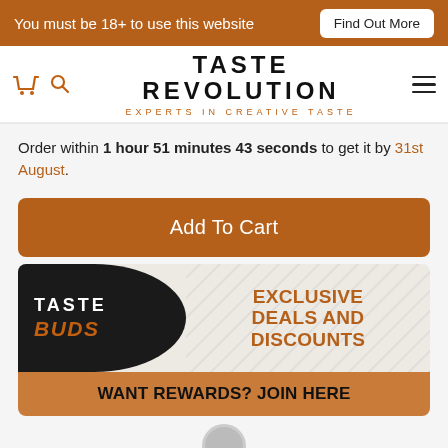You must be 18+ to use this website  Find Out More
TASTE REVOLUTION
EXPERTS IN CREATIVE TASTE
Order within 1 hour 51 minutes 43 seconds to get it by 31st August.
[Figure (infographic): Orange 'Add To Cart' button]
[Figure (infographic): Taste Buds loyalty promo banner with black semicircle logo on left reading TASTE BUDS in white and orange italic, and on the right diagonal stripe background with orange text reading EXCLUSIVE DEALS AND DISCOUNTS, below is an orange bar with black text WANT REWARDS? JOIN HERE]